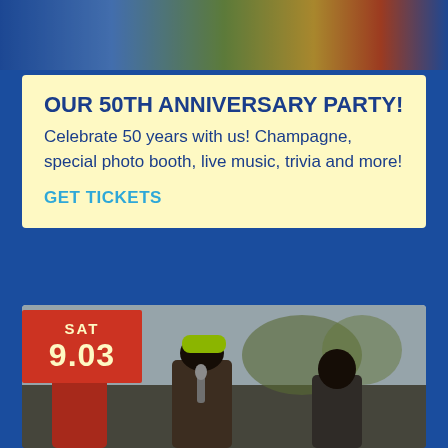[Figure (photo): Top photo strip showing colorful mural or street art with blue tones and warm colors]
OUR 50TH ANNIVERSARY PARTY!
Celebrate 50 years with us! Champagne, special photo booth, live music, trivia and more!
GET TICKETS
[Figure (photo): Photo of performers/musicians on stage outdoors, three people visible, one wearing a neon yellow cap holding a microphone, one in red jacket, one on right side. Date badge overlay: SAT 9.03]